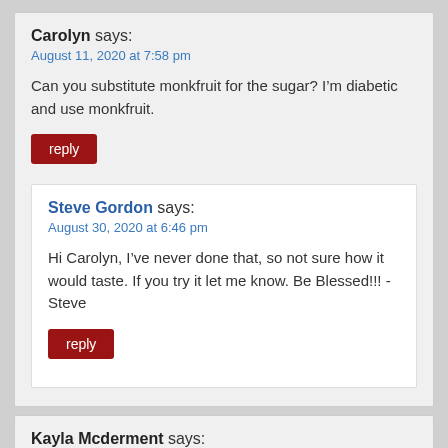Carolyn says:
August 11, 2020 at 7:58 pm
Can you substitute monkfruit for the sugar? I’m diabetic and use monkfruit.
reply
Steve Gordon says:
August 30, 2020 at 6:46 pm
Hi Carolyn, I’ve never done that, so not sure how it would taste. If you try it let me know. Be Blessed!!! -Steve
reply
Kayla Mcderment says:
September 15, 2019 at 9:44 pm